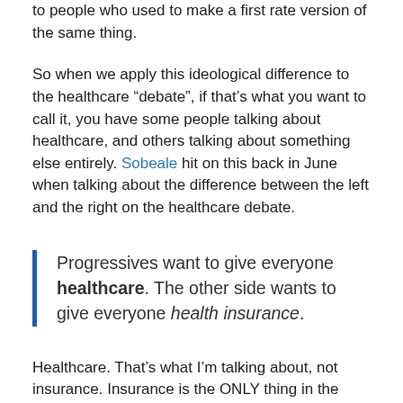to people who used to make a first rate version of the same thing.
So when we apply this ideological difference to the healthcare “debate”, if that’s what you want to call it, you have some people talking about healthcare, and others talking about something else entirely. Sobeale hit on this back in June when talking about the difference between the left and the right on the healthcare debate.
Progressives want to give everyone healthcare. The other side wants to give everyone health insurance.
Healthcare. That’s what I’m talking about, not insurance. Insurance is the ONLY thing in the world you